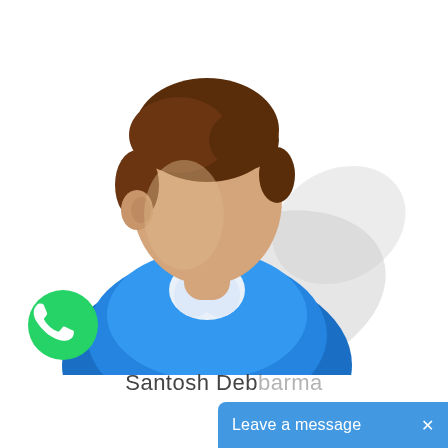[Figure (illustration): Generic user/person avatar icon: a faceless figure with brown hair wearing a blue shirt, with a grey shadow behind, typical default contact/profile image]
[Figure (logo): WhatsApp logo: green circle with white phone handset icon]
Santosh Debbarma
Leave a message  ×